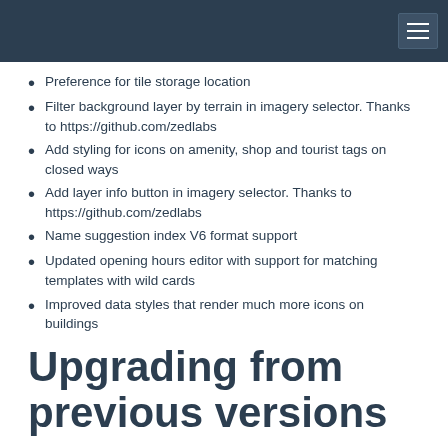Preference for tile storage location
Filter background layer by terrain in imagery selector. Thanks to https://github.com/zedlabs
Add styling for icons on amenity, shop and tourist tags on closed ways
Add layer info button in imagery selector. Thanks to https://github.com/zedlabs
Name suggestion index V6 format support
Updated opening hours editor with support for matching templates with wild cards
Improved data styles that render much more icons on buildings
Upgrading from previous versions